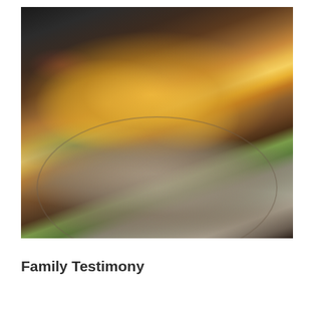[Figure (photo): Close-up food photo of eggs benedict with hollandaise sauce served on croissants, garnished with microgreens and salad, plated on a rustic ceramic plate, dark background]
Family Testimony